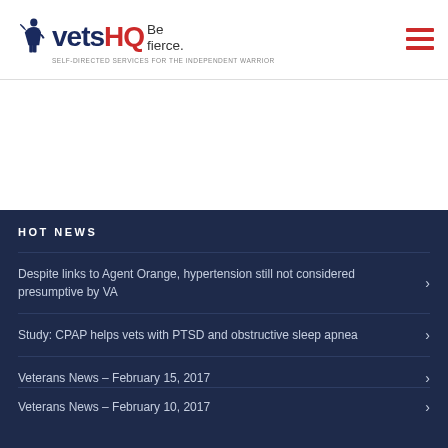[Figure (logo): VetsHQ logo with soldier silhouette icon, dark navy 'vets' text and red 'HQ' text, tagline 'Be fierce.' and subtitle 'SELF-DIRECTED SERVICES FOR THE INDEPENDENT WARRIOR']
[Figure (other): Hamburger menu icon in red/crimson color top right]
HOT NEWS
Despite links to Agent Orange, hypertension still not considered presumptive by VA
Study: CPAP helps vets with PTSD and obstructive sleep apnea
Veterans News – February 15, 2017
Veterans News – February 10, 2017